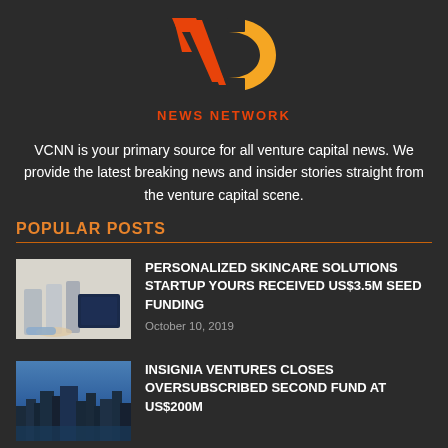[Figure (logo): VC News Network logo with red V shape and orange C shape]
NEWS NETWORK
VCNN is your primary source for all venture capital news. We provide the latest breaking news and insider stories straight from the venture capital scene.
POPULAR POSTS
[Figure (photo): Skincare product photo showing tubes and a navy box]
PERSONALIZED SKINCARE SOLUTIONS STARTUP YOURS RECEIVED US$3.5M SEED FUNDING
October 10, 2019
[Figure (photo): City skyline photo]
INSIGNIA VENTURES CLOSES OVERSUBSCRIBED SECOND FUND AT US$200M